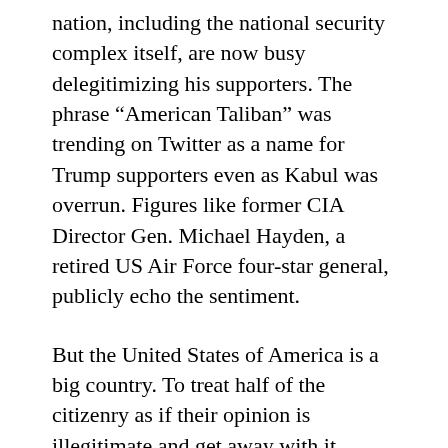nation, including the national security complex itself, are now busy delegitimizing his supporters. The phrase “American Taliban” was trending on Twitter as a name for Trump supporters even as Kabul was overrun. Figures like former CIA Director Gen. Michael Hayden, a retired US Air Force four-star general, publicly echo the sentiment.
But the United States of America is a big country. To treat half of the citizenry as if their opinion is illegitimate and get away with it requires two things: firm control of most major institutions, especially in leadership positions, and the continual expenditure of an enormous amount of